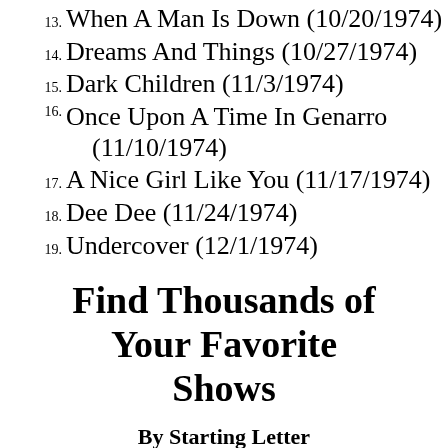13. When A Man Is Down (10/20/1974)
14. Dreams And Things (10/27/1974)
15. Dark Children (11/3/1974)
16. Once Upon A Time In Genarro (11/10/1974)
17. A Nice Girl Like You (11/17/1974)
18. Dee Dee (11/24/1974)
19. Undercover (12/1/1974)
Find Thousands of Your Favorite Shows
By Starting Letter
A B C D E F G H I J K L M N